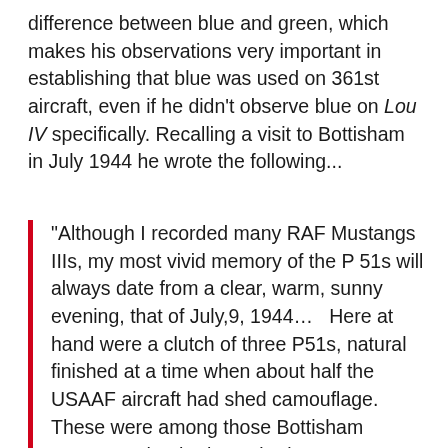difference between blue and green, which makes his observations very important in establishing that blue was used on 361st aircraft, even if he didn't observe blue on Lou IV specifically. Recalling a visit to Bottisham in July 1944 he wrote the following...
“Although I recorded many RAF Mustangs IIIs, my most vivid memory of the P 51s will always date from a clear, warm, sunny evening, that of July,9, 1944…   Here at hand were a clutch of three P51s, natural finished at a time when about half the USAAF aircraft had shed camouflage. These were among those Bottisham Mustangs that had acquired a most superb blue upper decking to wings and